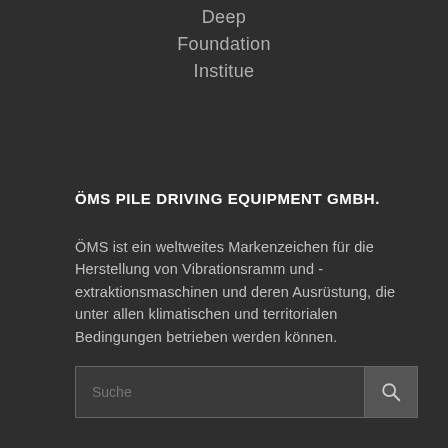Deep
Foundation
Institue
ÖMS PILE DRIVING EQUIPMENT GMBH.
ÖMS ist ein weltweites Markenzeichen für die Herstellung von Vibrationsramm und -extraktionsmaschinen und deren Ausrüstung, die unter allen klimatischen und territorialen Bedingungen betrieben werden können.